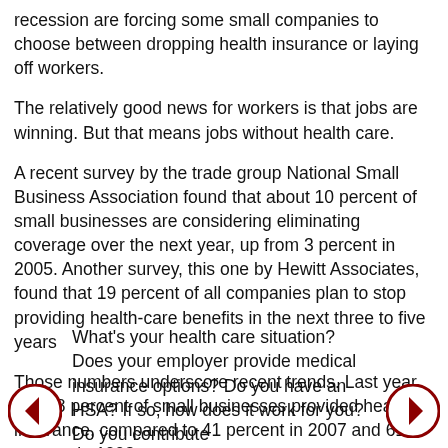recession are forcing some small companies to choose between dropping health insurance or laying off workers.
The relatively good news for workers is that jobs are winning. But that means jobs without health care.
A recent survey by the trade group National Small Business Association found that about 10 percent of small businesses are considering eliminating coverage over the next year, up from 3 percent in 2005. Another survey, this one by Hewitt Associates, found that 19 percent of all companies plan to stop providing health-care benefits in the next three to five years
Those numbers underscore recent trends. Last year, just 38 percent of small businesses provided health insurance, compared to 41 percent in 2007 and 61 percent in 1993.
What's your health care situation? Does your employer provide medical insurance options? Do you have an HSA? If so, how does it work for you? Do you contribute